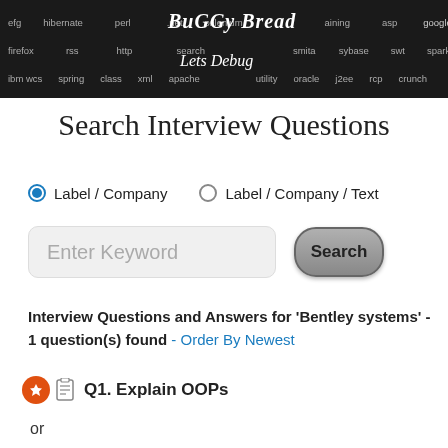[Figure (screenshot): Dark banner header with technology keywords (efg, hibernate, perl, .net, selenium, aining, asp, google, bigdata, firefox, rss, http, search, smita, sybase, swt, spark, nasal, ibm wcs, spring, class, xml, apache, utility, oracle, j2ee, rcp, crunch) on a dark background, with 'BuGGy Bread' and 'Lets Debug' in stylized white text]
Search Interview Questions
Label / Company (selected) | Label / Company / Text
Enter Keyword [Search]
Interview Questions and Answers for 'Bentley systems' - 1 question(s) found - Order By Newest
Q1. Explain OOPs
or